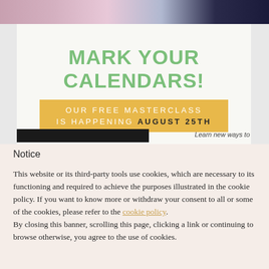[Figure (screenshot): A screenshot of a webpage banner showing a street photo at top, then a white card with green bold text 'MARK YOUR CALENDARS!' and a yellow banner reading 'OUR FREE MASTERCLASS IS HAPPENING AUGUST 25TH'. Below the card is a black strip and text 'Learn new ways to'.]
Notice
This website or its third-party tools use cookies, which are necessary to its functioning and required to achieve the purposes illustrated in the cookie policy. If you want to know more or withdraw your consent to all or some of the cookies, please refer to the cookie policy. By closing this banner, scrolling this page, clicking a link or continuing to browse otherwise, you agree to the use of cookies.